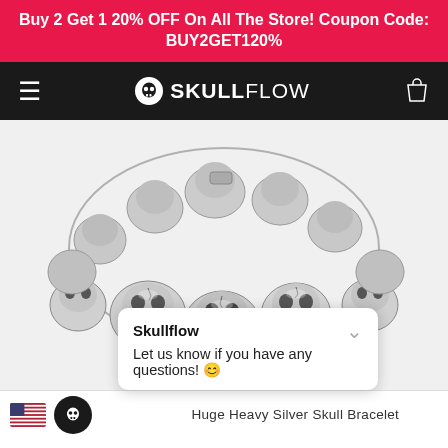Buy 2 Get 1 20% OFF On All The Store! Coupon Code: BUY2GET120%
☠ SKULLFLOW
[Figure (photo): A heavy silver skull bracelet made of large polished stainless steel skull beads linked together in a circular bracelet shape, photographed on white background.]
Skullflow
Let us know if you have any questions! 😊
Huge Heavy Silver Skull Bracelet